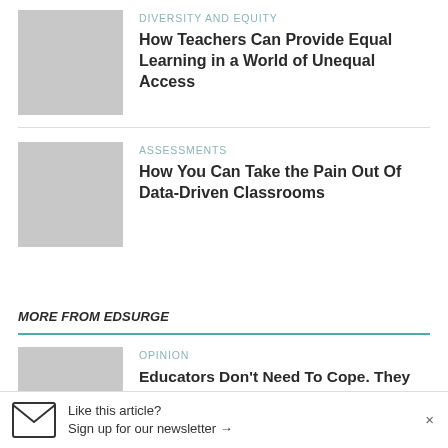[Figure (photo): Gray placeholder thumbnail image for article 1]
DIVERSITY AND EQUITY
How Teachers Can Provide Equal Learning in a World of Unequal Access
[Figure (photo): Gray placeholder thumbnail image for article 2]
ASSESSMENTS
How You Can Take the Pain Out Of Data-Driven Classrooms
MORE FROM EDSURGE
[Figure (photo): Gray placeholder thumbnail image for article 3]
OPINION
Educators Don't Need To Cope. They Need To Resist
Like this article? Sign up for our newsletter →